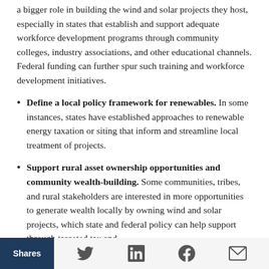a bigger role in building the wind and solar projects they host, especially in states that establish and support adequate workforce development programs through community colleges, industry associations, and other educational channels. Federal funding can further spur such training and workforce development initiatives.
Define a local policy framework for renewables. In some instances, states have established approaches to renewable energy taxation or siting that inform and streamline local treatment of projects.
Support rural asset ownership opportunities and community wealth-building. Some communities, tribes, and rural stakeholders are interested in more opportunities to generate wealth locally by owning wind and solar projects, which state and federal policy can help support through targeted tax and
Shares